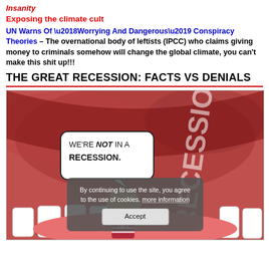Insanity
Exposing the climate cult
UN Warns Of ‘Worrying And Dangerous’ Conspiracy Theories – The overnational body of leftists (IPCC) who claims giving money to criminals somehow will change the global climate, you can’t make this shit up!!!
THE GREAT RECESSION: FACTS VS DENIALS
[Figure (illustration): Editorial cartoon showing a figure labeled USA being swallowed by a giant mouth with 'RECESSION' written in large letters in red on the right side. A speech bubble from the figure reads 'WE'RE NOT IN A RECESSION.' A cookie consent overlay appears at the bottom reading 'By continuing to use the site, you agree to the use of cookies. more information' with an Accept button.]